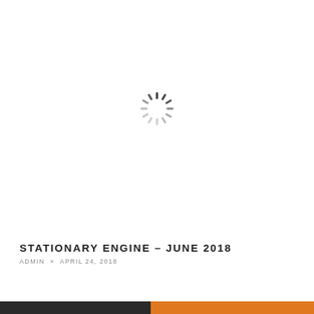[Figure (other): Loading spinner icon centered in the upper portion of the page]
STATIONARY ENGINE – JUNE 2018
ADMIN × APRIL 24, 2018
[Figure (other): Bottom decorative bar split half dark gray, half orange]